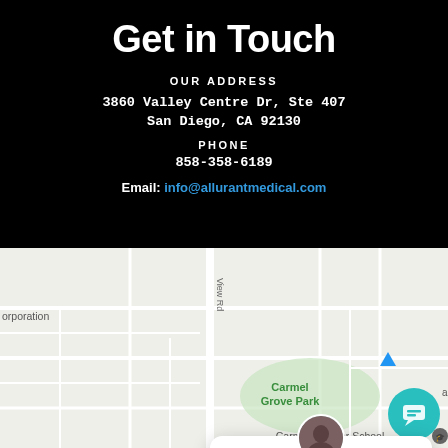Get in Touch
OUR ADDRESS
3860 Valley Centre Dr, Ste 407
San Diego, CA 92130
PHONE
858-358-6189
Email: info@allurantmedical.com
[Figure (map): Google Maps embed showing Carmel Grove Park area, San Diego, CA with Carmel Del Mar School visible]
Got any questions? I'm happy to help.